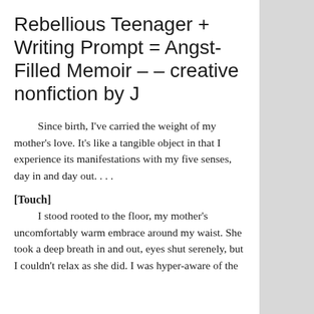Rebellious Teenager + Writing Prompt = Angst-Filled Memoir -- creative nonfiction by J
Since birth, I've carried the weight of my mother's love. It's like a tangible object in that I experience its manifestations with my five senses, day in and day out. . . .
[Touch]
I stood rooted to the floor, my mother's uncomfortably warm embrace around my waist. She took a deep breath in and out, eyes shut serenely, but I couldn't relax as she did. I was hyper-aware of the